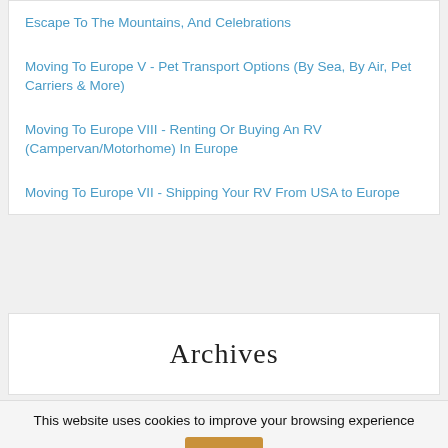Escape To The Mountains, And Celebrations
Moving To Europe V - Pet Transport Options (By Sea, By Air, Pet Carriers & More)
Moving To Europe VIII - Renting Or Buying An RV (Campervan/Motorhome) In Europe
Moving To Europe VII - Shipping Your RV From USA to Europe
Archives
This website uses cookies to improve your browsing experience   Got It!
To find out more, or learn how to change your cookie settings, click here   Read more